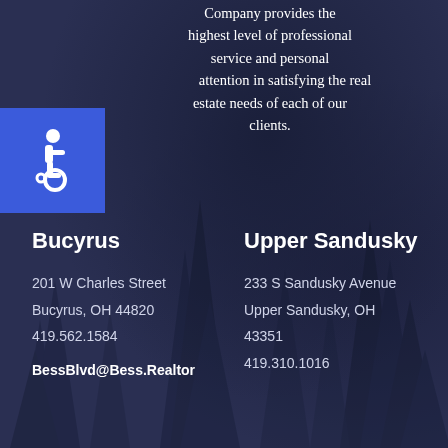Company provides the highest level of professional service and personal attention in satisfying the real estate needs of each of our clients.
[Figure (illustration): Blue square with white wheelchair accessibility icon]
Bucyrus
201 W Charles Street
Bucyrus, OH 44820
419.562.1584
BessBlvd@Bess.Realtor
Upper Sandusky
233 S Sandusky Avenue
Upper Sandusky, OH 43351
419.310.1016